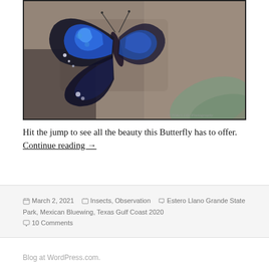[Figure (photo): Close-up photo of a blue and black butterfly (Mexican Bluewing) resting on rough bark/rock surface, with a green leaf visible in the background. A small watermark/credit is visible in the lower right corner.]
Hit the jump to see all the beauty this Butterfly has to offer. Continue reading →
March 2, 2021  Insects, Observation  Estero Llano Grande State Park, Mexican Bluewing, Texas Gulf Coast 2020  10 Comments
Blog at WordPress.com.